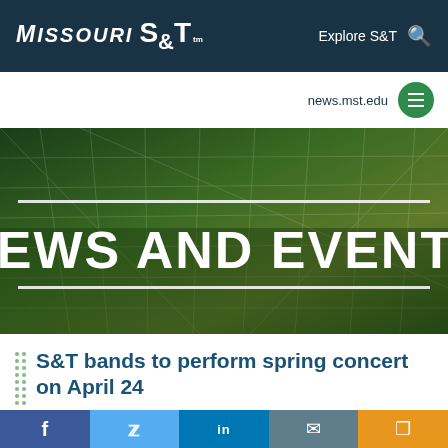Missouri S&T — Explore S&T [search]
news.mst.edu
[Figure (screenshot): Missouri S&T News and Events hero banner with green-tinted grid background and large white bold text 'NEWS AND EVENTS' bracketed by horizontal white lines]
S&T bands to perform spring concert on April 24
Social share bar: Facebook, Twitter, LinkedIn, Email, Share